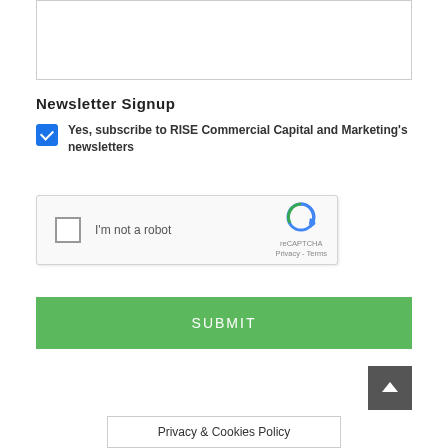[Figure (screenshot): Empty textarea input field with light gray border]
Newsletter Signup
Yes, subscribe to RISE Commercial Capital and Marketing's newsletters
[Figure (screenshot): reCAPTCHA widget with checkbox labeled I'm not a robot, reCAPTCHA logo, Privacy and Terms links]
[Figure (screenshot): Green SUBMIT button]
[Figure (screenshot): Dark gray scroll-to-top button with upward chevron arrow]
Privacy & Cookies Policy